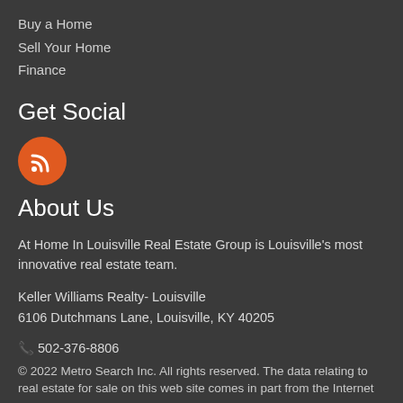Buy a Home
Sell Your Home
Finance
Get Social
[Figure (illustration): Orange circle RSS feed icon]
About Us
At Home In Louisville Real Estate Group is Louisville's most innovative real estate team.
Keller Williams Realty- Louisville
6106 Dutchmans Lane, Louisville, KY 40205
📞 502-376-8806
© 2022 Metro Search Inc. All rights reserved. The data relating to real estate for sale on this web site comes in part from the Internet